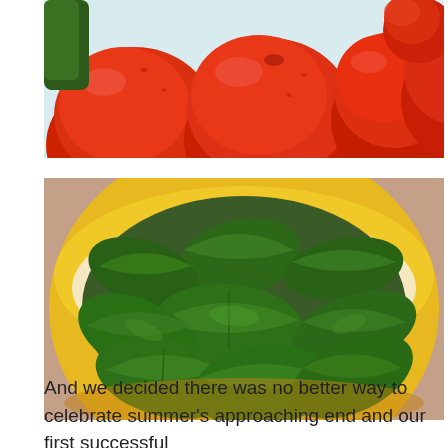[Figure (photo): Close-up photograph of several ripe red tomatoes on a white surface, partially cropped at top]
[Figure (photo): Overhead photograph of a yellow ceramic bowl filled with fresh green basil leaves on a pinkish-brown surface]
And we decided there was no better way to celebrate summer's approaching end and our first successful [continues below]